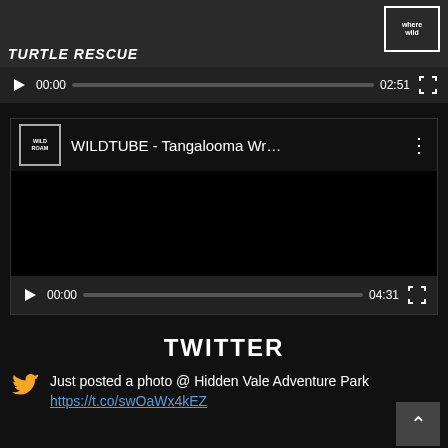[Figure (screenshot): Top video player showing 'TURTLE RESCUE' with a where wild logo overlay, video controls showing 00:00 / 02:51]
[Figure (screenshot): Second video player for 'WILDTUBE - Tangalooma Wr...' with WILD ROAM logo, showing 00:00 / 04:31]
TWITTER
Just posted a photo @ Hidden Vale Adventure Park https://t.co/swOaWx4kEZ